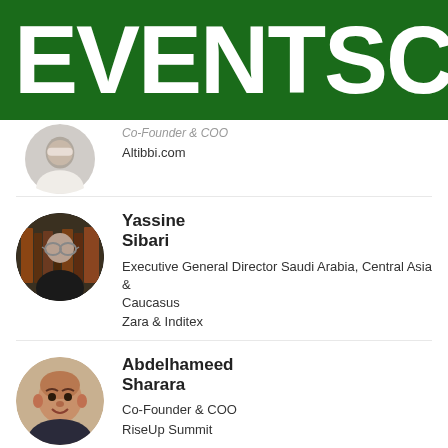[Figure (logo): Green banner with large white bold text 'EVENTSC' (partially cropped), event branding header]
Co-Founder & COO
Altibbi.com
Yassine
Sibari
Executive General Director Saudi Arabia, Central Asia & Caucasus
Zara & Inditex
Abdelhameed
Sharara
Co-Founder & COO
RiseUp Summit